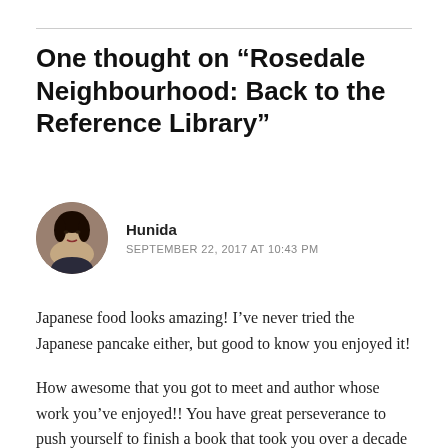One thought on “Rosedale Neighbourhood: Back to the Reference Library”
[Figure (photo): Circular avatar photo of commenter Hunida, showing a young woman with dark hair]
Hunida
SEPTEMBER 22, 2017 AT 10:43 PM
Japanese food looks amazing! I’ve never tried the Japanese pancake either, but good to know you enjoyed it!
How awesome that you got to meet and author whose work you’ve enjoyed!! You have great perseverance to push yourself to finish a book that took you over a decade to finish, congrats 😊